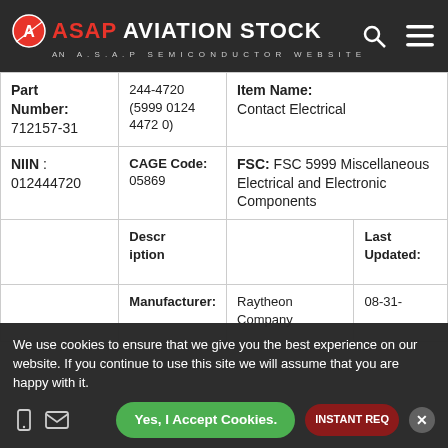ASAP AVIATION STOCK — AN A.S.A.P SEMICONDUCTOR WEBSITE
| Part Number | NSN/NIIN | Item Name / FSC |  |
| --- | --- | --- | --- |
| Part Number:
712157-31 | 244-4720
(5999
0124
4472
0) | Item Name:
Contact Electrical |  |
| NIIN : 012444720 | CAGE Code:
05869 | FSC: FSC 5999 Miscellaneous Electrical and Electronic Components |  |
|  | Description |  | Last Updated: |
|  | Manufacturer: | Raytheon Company | 08-31- |
We use cookies to ensure that we give you the best experience on our website. If you continue to use this site we will assume that you are happy with it.
Yes, I Accept Cookies.